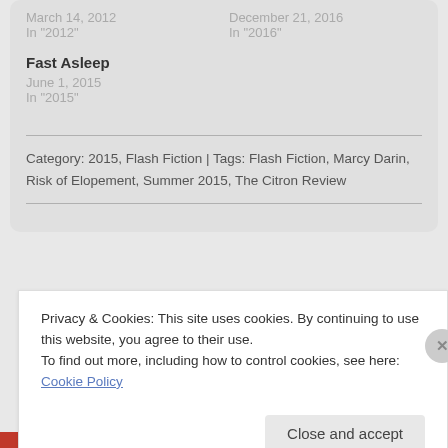March 14, 2012
In "2012"
December 21, 2016
In "2016"
Fast Asleep
June 1, 2015
In "2015"
Category: 2015, Flash Fiction | Tags: Flash Fiction, Marcy Darin, Risk of Elopement, Summer 2015, The Citron Review
Privacy & Cookies: This site uses cookies. By continuing to use this website, you agree to their use.
To find out more, including how to control cookies, see here: Cookie Policy
Close and accept